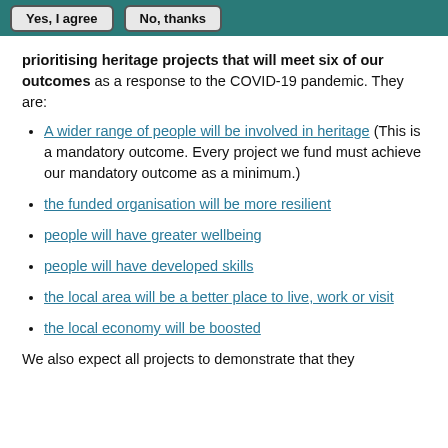Yes, I agree | No, thanks
prioritising heritage projects that will meet six of our outcomes as a response to the COVID-19 pandemic. They are:
A wider range of people will be involved in heritage (This is a mandatory outcome. Every project we fund must achieve our mandatory outcome as a minimum.)
the funded organisation will be more resilient
people will have greater wellbeing
people will have developed skills
the local area will be a better place to live, work or visit
the local economy will be boosted
We also expect all projects to demonstrate that they